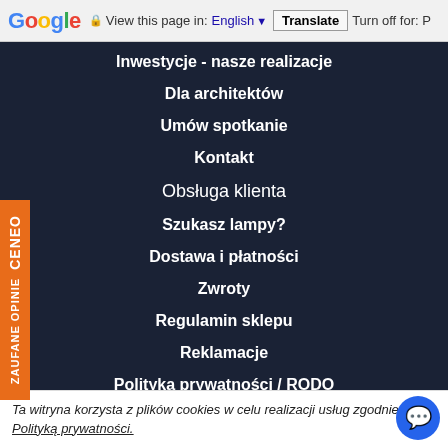Google | View this page in: English | Translate | Turn off for: P
Inwestycje - nasze realizacje
Dla architektów
Umów spotkanie
Kontakt
Obsługa klienta
Szukasz lampy?
Dostawa i płatności
Zwroty
Regulamin sklepu
Reklamacje
Polityka prywatności / RODO
ZAUFANE OPINIE CENEO
Ta witryna korzysta z plików cookies w celu realizacji usług zgodnie z Polityką prywatności.